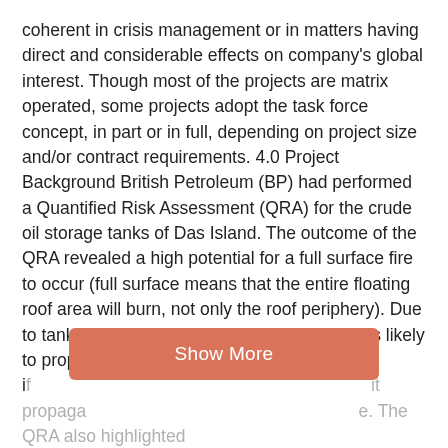coherent in crisis management or in matters having direct and considerable effects on company's global interest. Though most of the projects are matrix operated, some projects adopt the task force concept, in part or in full, depending on project size and/or contract requirements. 4.0 Project Background British Petroleum (BP) had performed a Quantified Risk Assessment (QRA) for the crude oil storage tanks of Das Island. The outcome of the QRA revealed a high potential for a full surface fire to occur (full surface means that the entire floating roof area will burn, not only the roof periphery). Due to tank farm congestion, the fire on one tank is likely to propagate to adjacent tanks if [faded] it propagates [faded] e. The QRA also highlighted